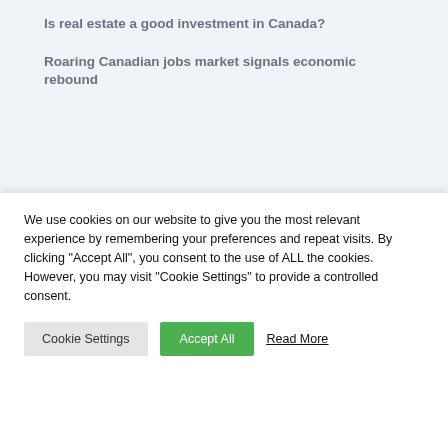Is real estate a good investment in Canada?
Roaring Canadian jobs market signals economic rebound
[Figure (logo): RE/MAX logo — circular badge with red top, white bottom, blue and red RE/MAX text — partially visible in dark header bar]
We use cookies on our website to give you the most relevant experience by remembering your preferences and repeat visits. By clicking “Accept All”, you consent to the use of ALL the cookies. However, you may visit "Cookie Settings" to provide a controlled consent.
Cookie Settings  Accept All  Read More